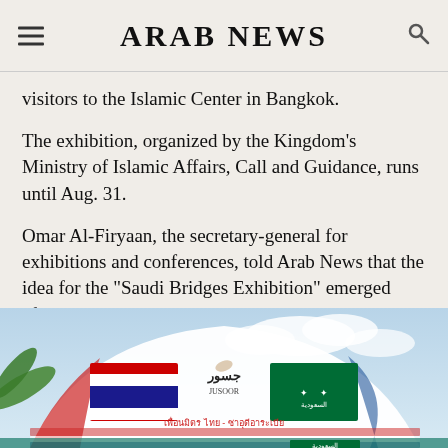ARAB NEWS
visitors to the Islamic Center in Bangkok.
The exhibition, organized by the Kingdom's Ministry of Islamic Affairs, Call and Guidance, runs until Aug. 31.
Omar Al-Firyaan, the secretary-general for exhibitions and conferences, told Arab News that the idea for the "Saudi Bridges Exhibition" emerged after diplomatic ties between Thailand and Saudi Arabia resumed earlier this year.
[Figure (photo): Photo of a tent or exhibition structure with Thai and Saudi Arabian flags displayed, along with Arabic and Thai text reading 'Saudi Bridges' and Thai-Saudi friendship text below.]